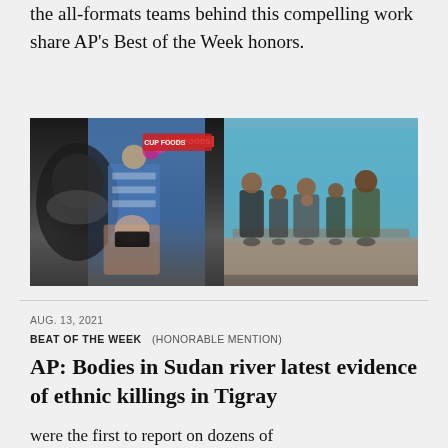the all-formats teams behind this compelling work share AP's Best of the Week honors.
[Figure (photo): Two photos side by side: left shows a child with flowers near a mural and a man in a black mask at what appears to be a memorial near a CUP FOODS store; right shows a family seated against a blue wall.]
AUG. 13, 2021
BEAT OF THE WEEK (HONORABLE MENTION)
AP: Bodies in Sudan river latest evidence of ethnic killings in Tigray
were the first to report on dozens of